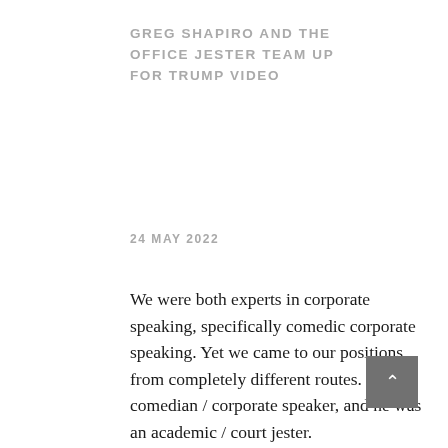GREG SHAPIRO AND THE OFFICE JESTER TEAM UP FOR TRUMP VIDEO
24 MAY 2022
We were both experts in corporate speaking, specifically comedic corporate speaking. Yet we came to our positions from completely different routes. I was a comedian / corporate speaker, and he was an academic / court jester.